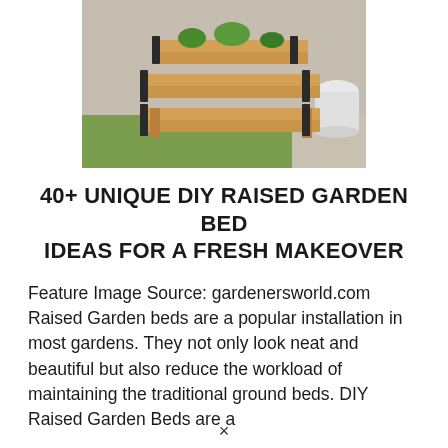[Figure (photo): A wooden tiered DIY raised garden bed with metal corner brackets, sitting on a grassy lawn next to a concrete path and a white pot in the background.]
40+ UNIQUE DIY RAISED GARDEN BED IDEAS FOR A FRESH MAKEOVER
Feature Image Source: gardenersworld.com Raised Garden beds are a popular installation in most gardens. They not only look neat and beautiful but also reduce the workload of maintaining the traditional ground beds. DIY Raised Garden Beds are a